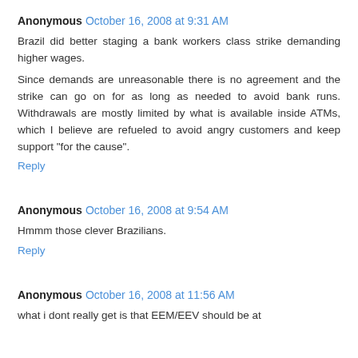Anonymous October 16, 2008 at 9:31 AM
Brazil did better staging a bank workers class strike demanding higher wages.
Since demands are unreasonable there is no agreement and the strike can go on for as long as needed to avoid bank runs. Withdrawals are mostly limited by what is available inside ATMs, which I believe are refueled to avoid angry customers and keep support "for the cause".
Reply
Anonymous October 16, 2008 at 9:54 AM
Hmmm those clever Brazilians.
Reply
Anonymous October 16, 2008 at 11:56 AM
what i dont really get is that EEM/EEV should be at